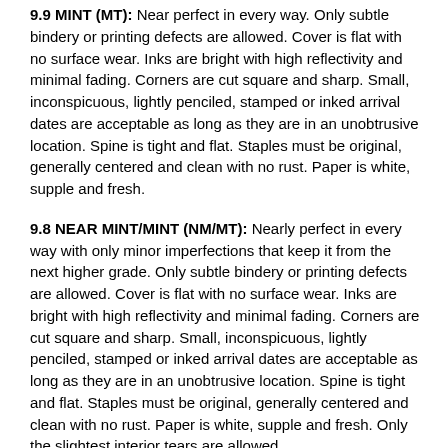9.9 MINT (MT): Near perfect in every way. Only subtle bindery or printing defects are allowed. Cover is flat with no surface wear. Inks are bright with high reflectivity and minimal fading. Corners are cut square and sharp. Small, inconspicuous, lightly penciled, stamped or inked arrival dates are acceptable as long as they are in an unobtrusive location. Spine is tight and flat. Staples must be original, generally centered and clean with no rust. Paper is white, supple and fresh.
9.8 NEAR MINT/MINT (NM/MT): Nearly perfect in every way with only minor imperfections that keep it from the next higher grade. Only subtle bindery or printing defects are allowed. Cover is flat with no surface wear. Inks are bright with high reflectivity and minimal fading. Corners are cut square and sharp. Small, inconspicuous, lightly penciled, stamped or inked arrival dates are acceptable as long as they are in an unobtrusive location. Spine is tight and flat. Staples must be original, generally centered and clean with no rust. Paper is white, supple and fresh. Only the slightest interior tears are allowed.